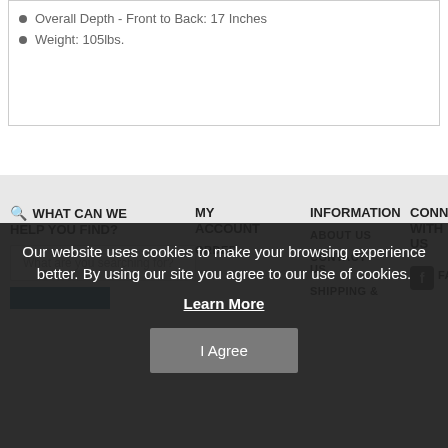Overall Depth - Front to Back: 17 Inches
Weight: 105lbs.
WHAT CAN WE HELP YOU FIND?
What are you searching for?
MY ACCOUNT
ORDER
INFORMATION
ABOUT US
CONTACT US
SHIPPING &
CONNECT WITH US
FACEBOOK
Our website uses cookies to make your browsing experience better. By using our site you agree to our use of cookies.
Learn More
I Agree